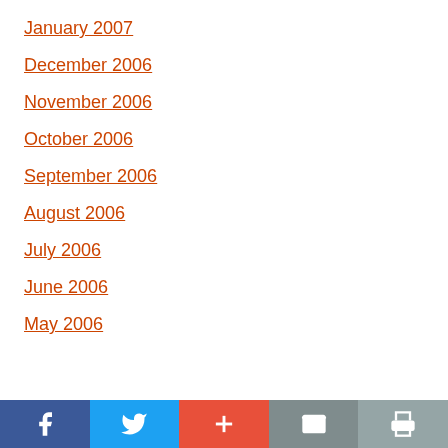January 2007
December 2006
November 2006
October 2006
September 2006
August 2006
July 2006
June 2006
May 2006